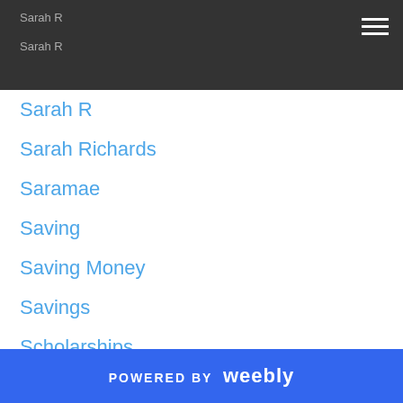Sarah R
Sarah R
Sarah R
Sarah Richards
Saramae
Saving
Saving Money
Savings
Scholarships
Scholastic
School
School Directory
School Vacation
Science
Self Care
Seminars
Sensory
POWERED BY weebly